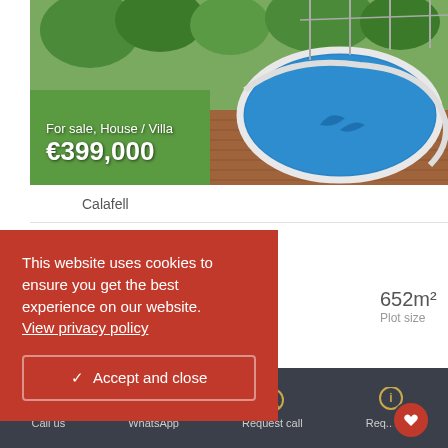[Figure (photo): Aerial/overhead view of a house with a swimming pool, garden and trees. Shows a blue pool with a dolphin figure, wooden deck, and lush green surroundings.]
For sale, House / Villa
€399,000
Calafell
th 200m² garden for
652m²
Plot size
This website uses cookies to ensure you get the best experience on our website.
View privacy policy
✓ Accept and close
Call us   WhatsApp   Request call   Req... Info